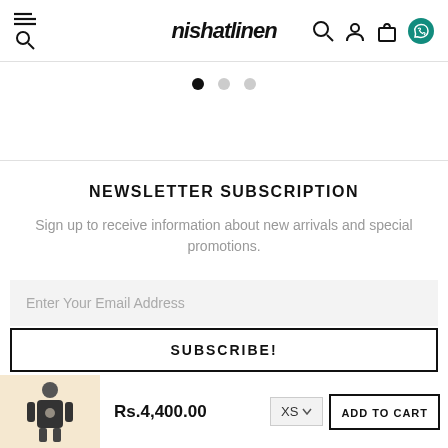nishat linen
[Figure (screenshot): Carousel dots navigation: one filled black dot and two lighter dots]
NEWSLETTER SUBSCRIPTION
Sign up to receive information about new arrivals and special promotions.
Enter Your Email Address
SUBSCRIBE!
Rs.4,400.00
XS
ADD TO CART